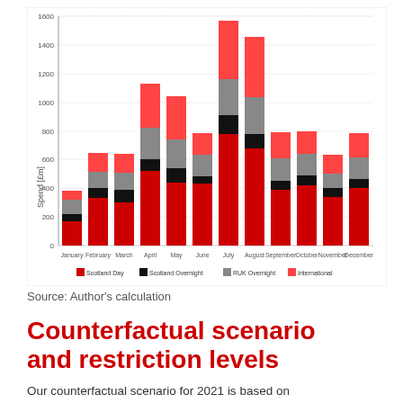[Figure (stacked-bar-chart): ]
Source: Author's calculation
Counterfactual scenario and restriction levels
Our counterfactual scenario for 2021 is based on